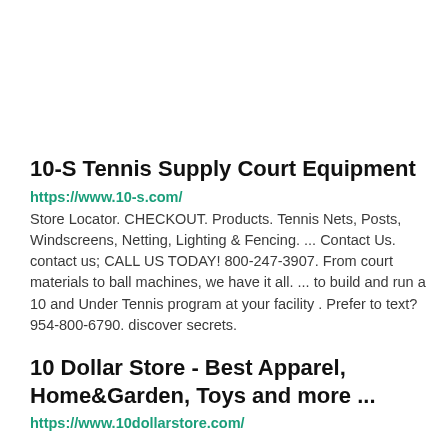10-S Tennis Supply Court Equipment
https://www.10-s.com/
Store Locator. CHECKOUT. Products. Tennis Nets, Posts, Windscreens, Netting, Lighting & Fencing. ... Contact Us. contact us; CALL US TODAY! 800-247-3907. From court materials to ball machines, we have it all. ... to build and run a 10 and Under Tennis program at your facility . Prefer to text? 954-800-6790. discover secrets.
10 Dollar Store - Best Apparel, Home&Garden, Toys and more ...
https://www.10dollarstore.com/